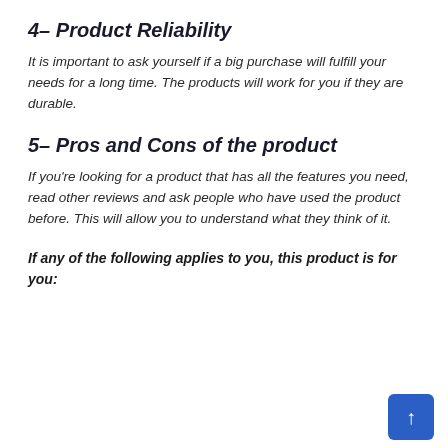4– Product Reliability
It is important to ask yourself if a big purchase will fulfill your needs for a long time. The products will work for you if they are durable.
5– Pros and Cons of the product
If you're looking for a product that has all the features you need, read other reviews and ask people who have used the product before. This will allow you to understand what they think of it.
If any of the following applies to you, this product is for you: